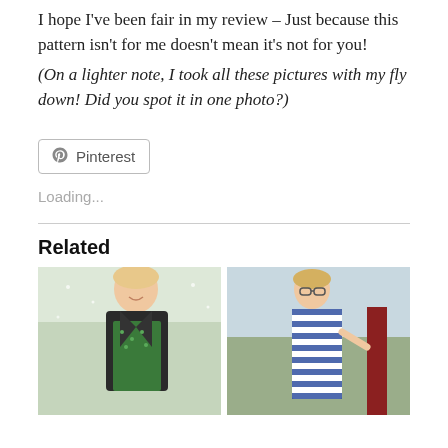I hope I've been fair in my review – Just because this pattern isn't for me doesn't mean it's not for you!
(On a lighter note, I took all these pictures with my fly down! Did you spot it in one photo?)
[Figure (other): Pinterest share button with Pinterest logo icon and text 'Pinterest']
Loading...
Related
[Figure (photo): Photo of a woman wearing a green patterned dress with a black vest/jacket, outdoors in winter/snowy setting]
[Figure (photo): Photo of a woman wearing a blue and white striped dress, standing near a red structure outdoors]